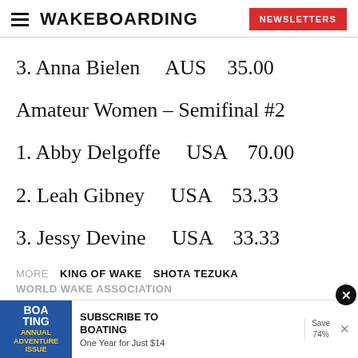WAKEBOARDING   NEWSLETTERS
3. Anna Bielen    AUS    35.00
Amateur Women – Semifinal #2
1. Abby Delgoffe    USA    70.00
2. Leah Gibney    USA    53.33
3. Jessy Devine    USA    33.33
MORE   KING OF WAKE   SHOTA TEZUKA   WORLD WAKE ASSOCIATION
[Figure (infographic): Advertisement banner for Boating magazine subscription: Subscribe to Boating, One Year for Just $14, Save 74%]